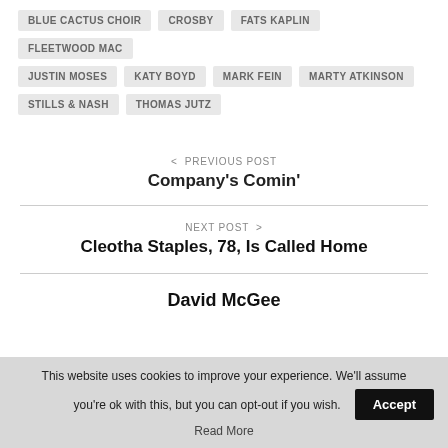BLUE CACTUS CHOIR
CROSBY
FATS KAPLIN
FLEETWOOD MAC
JUSTIN MOSES
KATY BOYD
MARK FEIN
MARTY ATKINSON
STILLS & NASH
THOMAS JUTZ
< PREVIOUS POST
Company’s Comin’
NEXT POST >
Cleotha Staples, 78, Is Called Home
David McGee
This website uses cookies to improve your experience. We’ll assume you’re ok with this, but you can opt-out if you wish.
Accept
Read More